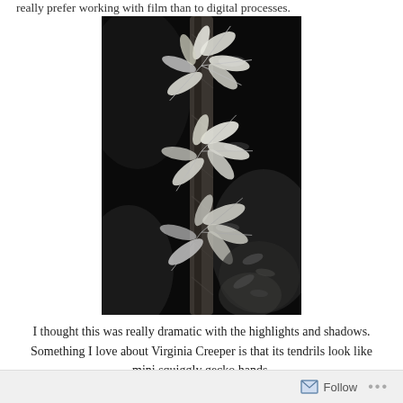really prefer working with film than to digital processes.
[Figure (photo): Black and white photograph of Virginia Creeper vines with star-shaped leaves climbing a tree trunk against a dark background]
I thought this was really dramatic with the highlights and shadows. Something I love about Virginia Creeper is that its tendrils look like mini squiggly gecko hands.
Follow